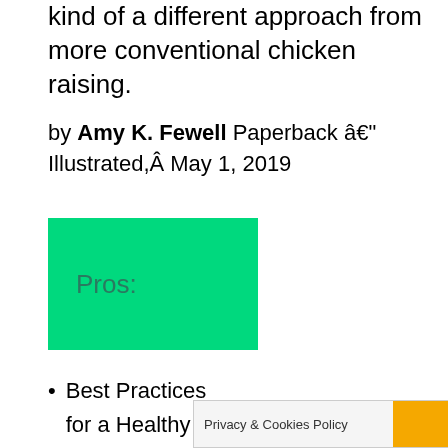kind of a different approach from more conventional chicken raising.
by Amy K. Fewell Paperback â€" Illustrated,Â May 1, 2019
Pros:
Best Practices for a Healthy Flock
recommended for anyon
Privacy & Cookies Policy